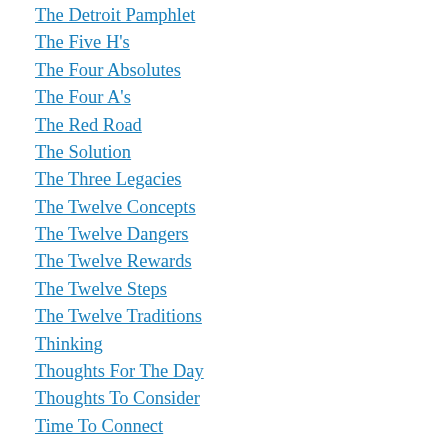The Detroit Pamphlet
The Five H's
The Four Absolutes
The Four A's
The Red Road
The Solution
The Three Legacies
The Twelve Concepts
The Twelve Dangers
The Twelve Rewards
The Twelve Steps
The Twelve Traditions
Thinking
Thoughts For The Day
Thoughts To Consider
Time To Connect